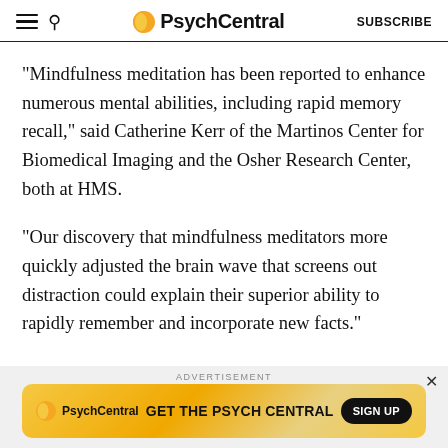PsychCentral | SUBSCRIBE
“Mindfulness meditation has been reported to enhance numerous mental abilities, including rapid memory recall,” said Catherine Kerr of the Martinos Center for Biomedical Imaging and the Osher Research Center, both at HMS.
“Our discovery that mindfulness meditators more quickly adjusted the brain wave that screens out distraction could explain their superior ability to rapidly remember and incorporate new facts.”
[Figure (other): PsychCentral advertisement banner with orange/yellow gradient background, logo, text GET THE PSYCH CENTRAL, and SIGN UP button]